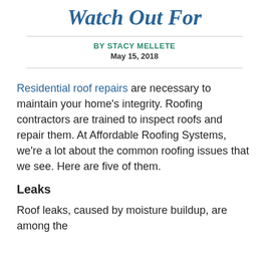Watch Out For
BY STACY MELLETE
May 15, 2018
Residential roof repairs are necessary to maintain your home's integrity. Roofing contractors are trained to inspect roofs and repair them. At Affordable Roofing Systems, we're a lot about the common roofing issues that we see. Here are five of them.
Leaks
Roof leaks, caused by moisture buildup, are among the